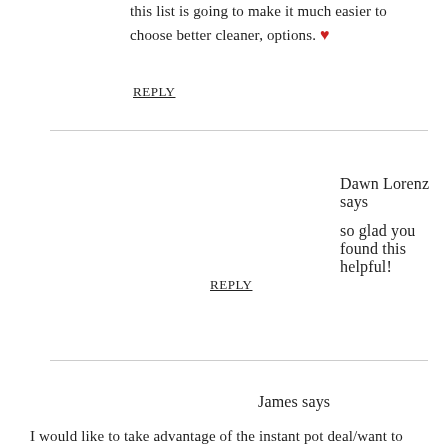this list is going to make it much easier to choose better cleaner, options. ❤
REPLY
Dawn Lorenz says
so glad you found this helpful!
REPLY
James says
I would like to take advantage of the instant pot deal/want to make sure I don't miss it. Is the 8 quart half off on cyber